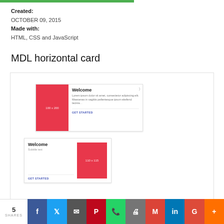Created: OCTOBER 09, 2015
Made with: HTML, CSS and JavaScript
MDL horizontal card
[Figure (screenshot): A screenshot preview showing two MDL (Material Design Lite) horizontal card components. The first card has a red image placeholder on the left (100x200), a 'Welcome' title with lorem ipsum text and a share icon, and a 'GET STARTED' action link. The second card has a 'Welcome' title with 'Subtitle text' on the left and a red image placeholder (110x115) on the right, with 'GET STARTED' action link.]
5 SHARES | Facebook | Twitter | Email | Pinterest | WhatsApp | Print | Gmail | LinkedIn | Google+ | Plus